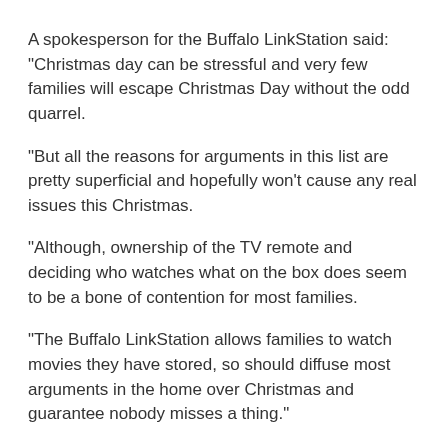A spokesperson for the Buffalo LinkStation said: "Christmas day can be stressful and very few families will escape Christmas Day without the odd quarrel.
"But all the reasons for arguments in this list are pretty superficial and hopefully won’t cause any real issues this Christmas.
"Although, ownership of the TV remote and deciding who watches what on the box does seem to be a bone of contention for most families.
"The Buffalo LinkStation allows families to watch movies they have stored, so should diffuse most arguments in the home over Christmas and guarantee nobody misses a thing.”
Children are also a big cause of a rumpuses – with kids’